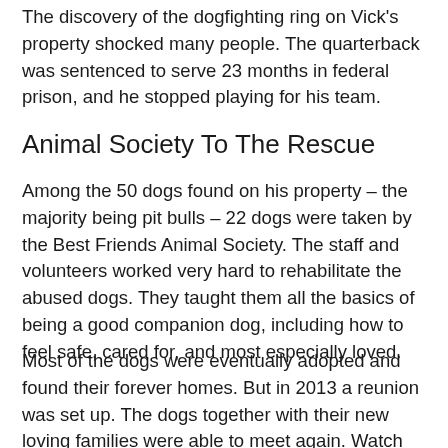The discovery of the dogfighting ring on Vick's property shocked many people. The quarterback was sentenced to serve 23 months in federal prison, and he stopped playing for his team.
Animal Society To The Rescue
Among the 50 dogs found on his property – the majority being pit bulls – 22 dogs were taken by the Best Friends Animal Society. The staff and volunteers worked very hard to rehabilitate the abused dogs. They taught them all the basics of being a good companion dog, including how to feel safe, cared for, and most especially loved.
Most of the dogs were eventually adopted and found their forever homes. But in 2013 a reunion was set up. The dogs together with their new loving families were able to meet again. Watch the fantastic transformation of the rescued dogs below.